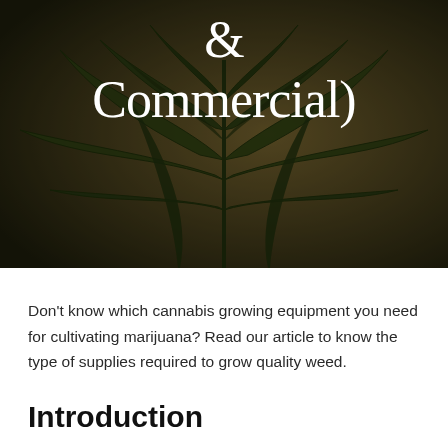[Figure (photo): Close-up photograph of dark green cannabis leaves against a dark brownish background]
& Commercial)
Don't know which cannabis growing equipment you need for cultivating marijuana? Read our article to know the type of supplies required to grow quality weed.
Introduction